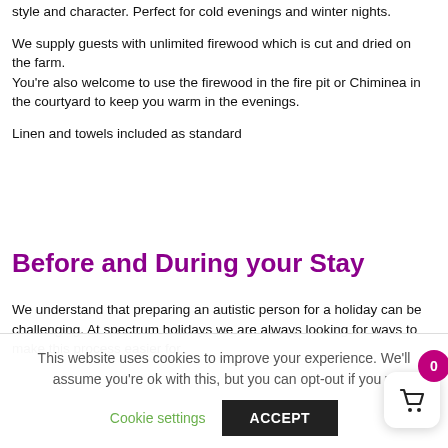style and character. Perfect for cold evenings and winter nights.
We supply guests with unlimited firewood which is cut and dried on the farm.
You're also welcome to use the firewood in the fire pit or Chiminea in the courtyard to keep you warm in the evenings.
Linen and towels included as standard
Before and During your Stay
We understand that preparing an autistic person for a holiday can be challenging. At spectrum holidays we are always looking for ways to make this process easier for
This website uses cookies to improve your experience. We'll assume you're ok with this, but you can opt-out if you w
Cookie settings
ACCEPT